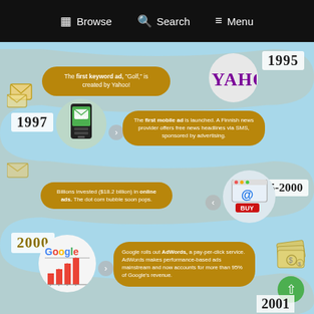Browse   Search   Menu
[Figure (infographic): History of online advertising timeline infographic showing milestones from 1995 to 2001. 1995: The first keyword ad 'Golf' is created by Yahoo! 1997: The first mobile ad is launched. A Finnish news provider offers free news headlines via SMS, sponsored by advertising. 1995-2000: Billions invested ($18.2 billion) in online ads. The dot com bubble soon pops. 2000: Google rolls out AdWords, a pay-per-click service. AdWords makes performance-based ads mainstream and now accounts for more than 95% of Google's revenue.]